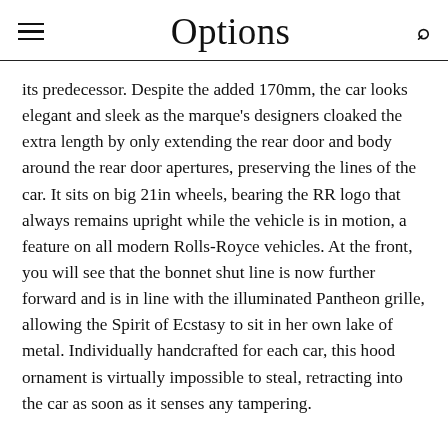Options
its predecessor. Despite the added 170mm, the car looks elegant and sleek as the marque's designers cloaked the extra length by only extending the rear door and body around the rear door apertures, preserving the lines of the car. It sits on big 21in wheels, bearing the RR logo that always remains upright while the vehicle is in motion, a feature on all modern Rolls-Royce vehicles. At the front, you will see that the bonnet shut line is now further forward and is in line with the illuminated Pantheon grille, allowing the Spirit of Ecstasy to sit in her own lake of metal. Individually handcrafted for each car, this hood ornament is virtually impossible to steal, retracting into the car as soon as it senses any tampering.